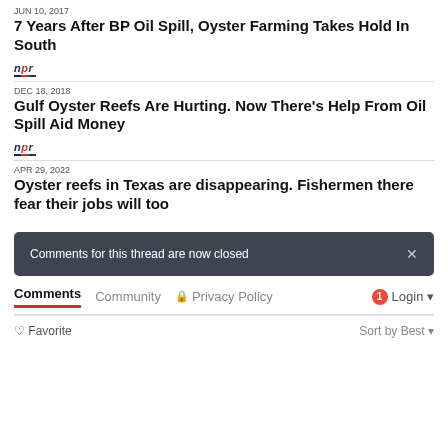JUN 10, 2017
7 Years After BP Oil Spill, Oyster Farming Takes Hold In South
[Figure (logo): NPR logo with colored underline]
DEC 18, 2018
Gulf Oyster Reefs Are Hurting. Now There’s Help From Oil Spill Aid Money
[Figure (logo): NPR logo with colored underline]
APR 29, 2022
Oyster reefs in Texas are disappearing. Fishermen there fear their jobs will too
Comments for this thread are now closed
Comments  Community  Privacy Policy  Login
Favorite  Sort by Best